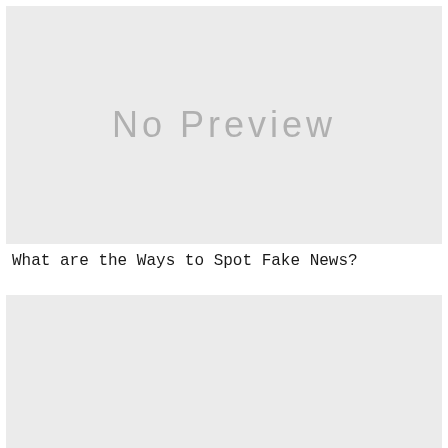[Figure (other): No Preview placeholder image box, light gray background]
What are the Ways to Spot Fake News?
[Figure (other): No Preview placeholder image box, light gray background, partially visible]